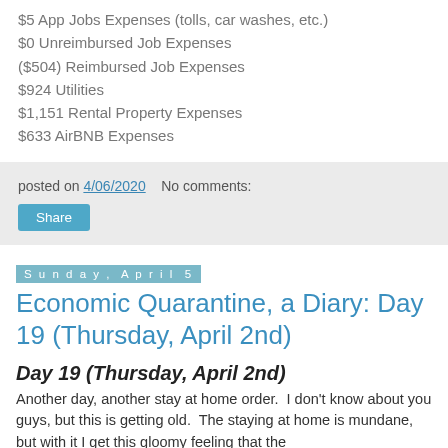$5 App Jobs Expenses (tolls, car washes, etc.)
$0 Unreimbursed Job Expenses
($504) Reimbursed Job Expenses
$924 Utilities
$1,151 Rental Property Expenses
$633 AirBNB Expenses
posted on 4/06/2020   No comments:
Share
Sunday, April 5
Economic Quarantine, a Diary: Day 19 (Thursday, April 2nd)
Day 19 (Thursday, April 2nd)
Another day, another stay at home order.  I don't know about you guys, but this is getting old.  The staying at home is mundane, but with it I get this gloomy feeling that the